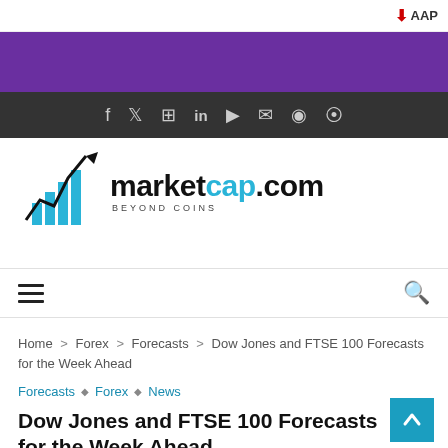↓ AAP
[Figure (illustration): Purple banner header background]
[Figure (illustration): Dark social media icon bar with icons: f, Twitter, Instagram, LinkedIn, YouTube, mail, Snapchat, RSS]
[Figure (logo): marketcap.com logo with chart icon and tagline BEYOND COINS]
[Figure (illustration): Navigation bar with hamburger menu icon on left and search icon on right]
Home > Forex > Forecasts > Dow Jones and FTSE 100 Forecasts for the Week Ahead
Forecasts ◇ Forex ◇ News
Dow Jones and FTSE 100 Forecasts for the Week Ahead